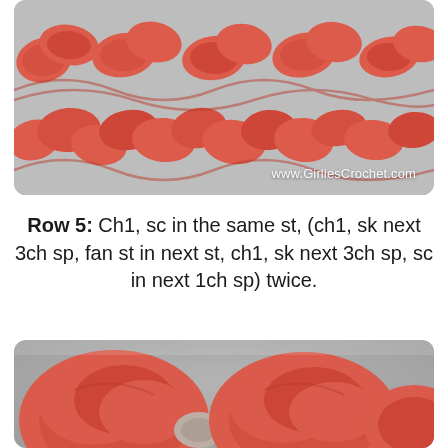[Figure (photo): Close-up photo of coral/salmon colored crochet fan stitch pattern on grey background, with watermark www.GirliesCrochet.com in bottom right corner]
Row 5: Ch1, sc in the same st, (ch1, sk next 3ch sp, fan st in next st, ch1, sk next 3ch sp, sc in next 1ch sp) twice.
[Figure (photo): Close-up photo of coral/salmon colored crochet fan stitch pattern showing two fan stitches side by side on grey background]